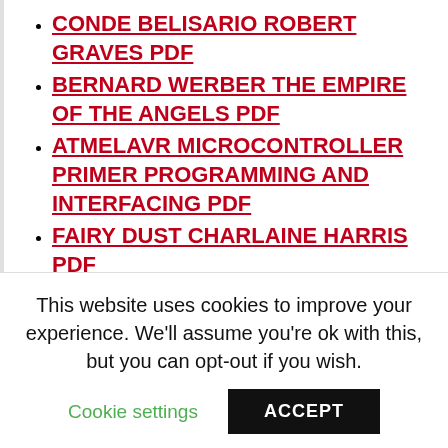CONDE BELISARIO ROBERT GRAVES PDF
BERNARD WERBER THE EMPIRE OF THE ANGELS PDF
ATMELAVR MICROCONTROLLER PRIMER PROGRAMMING AND INTERFACING PDF
FAIRY DUST CHARLAINE HARRIS PDF
APPLEGATE EVERWORLD PDF
CORMANTHYR EMPIRE ELVES PDF
DAMBALLAH JOHN EDGAR WIDEMAN PDF
This website uses cookies to improve your experience. We'll assume you're ok with this, but you can opt-out if you wish.
Cookie settings    ACCEPT